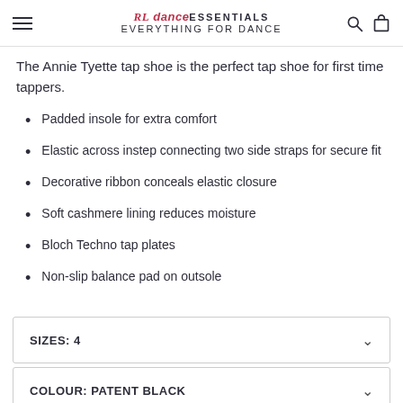Dance Essentials
The Annie Tyette tap shoe is the perfect tap shoe for first time tappers.
Padded insole for extra comfort
Elastic across instep connecting two side straps for secure fit
Decorative ribbon conceals elastic closure
Soft cashmere lining reduces moisture
Bloch Techno tap plates
Non-slip balance pad on outsole
SIZES: 4
COLOUR: PATENT BLACK